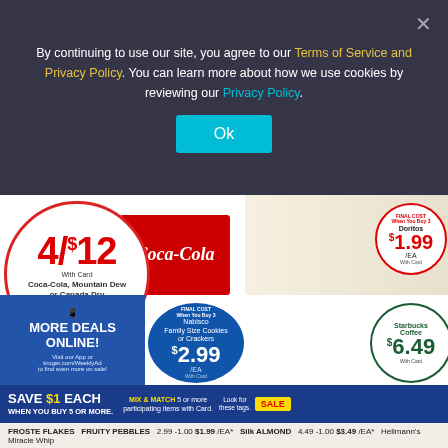By continuing to use our site, you agree to our Terms of Service and Privacy Policy. You can learn more about how we use cookies by reviewing our Privacy Policy.
Ok
[Figure (infographic): Kroger weekly ad showing 4/$12 Coca-Cola/Mountain Dew/Canada Dry deal, Doritos $1.99/EA, Nabisco Family Size Cookies or Crackers $2.99/EA, Starbucks Coffee $6.49, More Deals Online section]
4/$12 With Card Coca-Cola, Mountain Dew or Canada Dry 12-Pack, 12 fl oz Cans or 8-Pack, 12 fl oz Bottles, Select Varieties, Limit 20
FINAL COST When You Buy 3 Doritos $1.99 /EA With Card
MORE DEALS ONLINE! Visit our App or kroger.com/WeeklyAd to find even more on sale!
FINAL COST When You Buy 3 Nabisco Family Size Cookies or Crackers Select Varieties, 10-20.6 oz $2.99 /EA With Card
Starbucks Coffee $6.49 With Card
SAVE $1 EACH WHEN YOU BUY 5 OR MORE. MIX & MATCH 5 or more participating items with Card. Look for these tags. SALE
FROSTE FLAKES FRUITY PEBBLES 2.99 -1.00 $1.99 /EA* Silk ALMOND 4.49 -1.00 $3.49 /EA* Hellmann's Miracle Whip